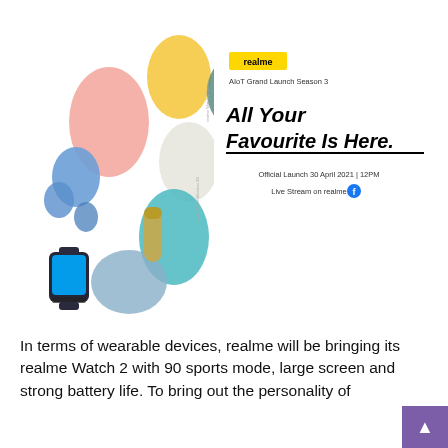[Figure (illustration): Realme AIoT Grand Launch Season 3 promotional image showing various realme wearable and tech products (smartwatch, earbuds, power bank, fitness band, speaker, etc.) displayed as colorful oval blobs on the left side, with the realme yellow logo badge, text 'AIoT Grand Launch Season 3', large italic text 'All Your Favourite Is Here.', 'Official Launch 30 April 2021 | 12PM', and 'Live Stream on realme' with a Facebook icon on the right side.]
In terms of wearable devices, realme will be bringing its realme Watch 2 with 90 sports mode, large screen and strong battery life. To bring out the personality of